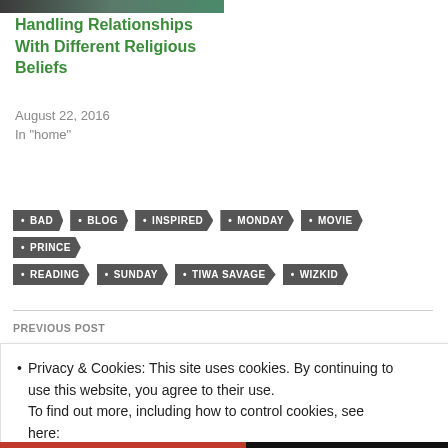[Figure (photo): Dark toned image partially visible at top of page]
Handling Relationships With Different Religious Beliefs
August 22, 2016
In "home"
BAD
BLOG
INSPIRED
MONDAY
MOVIE
PRINCE
READING
SUNDAY
TIWA SAVAGE
WIZKID
PREVIOUS POST
Privacy & Cookies: This site uses cookies. By continuing to use this website, you agree to their use.
To find out more, including how to control cookies, see here: Cookie Policy
Close and accept